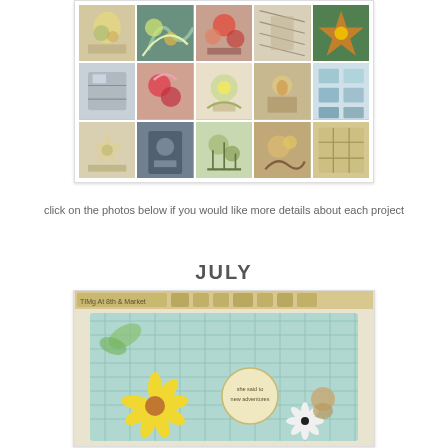[Figure (photo): A collage grid of 15 craft/art project photos arranged in 3 rows of 5 columns, showing various handmade journal pages, cards, and mixed media artwork with floral motifs, botanical prints, and decorative elements.]
click on the photos below if you would like more details about each project
JULY
[Figure (photo): A craft/mixed media art project photo showing a decorative journal page or card with yellow daisy flowers, teal/green patterned background, and a circular medallion element. There is a tab strip at the top reading 'TIMg At 8th & Market' with additional tabs. The overall palette is yellow, teal, and cream.]